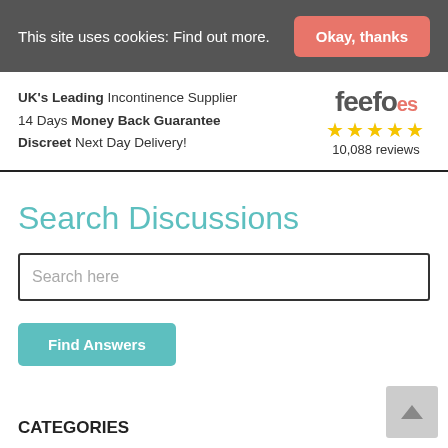This site uses cookies: Find out more.
Okay, thanks
UK's Leading Incontinence Supplier
14 Days Money Back Guarantee
Discreet Next Day Delivery!
[Figure (logo): Feefo logo with 5 gold stars and '10,088 reviews']
Search Discussions
Search here
Find Answers
CATEGORIES